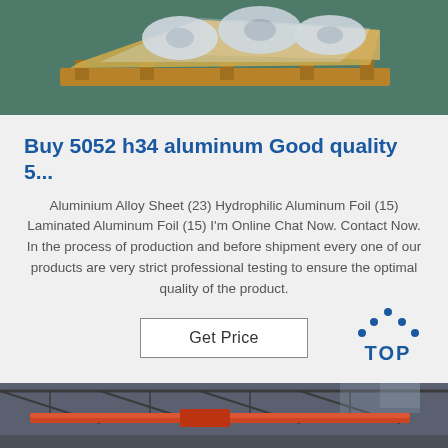[Figure (photo): Photo of aluminum foil rolls wrapped in plastic on a wooden pallet on a green floor]
Buy 5052 h34 aluminum Good quality 5...
Aluminium Alloy Sheet (23) Hydrophilic Aluminum Foil (15) Laminated Aluminum Foil (15) I'm Online Chat Now. Contact Now. In the process of production and before shipment every one of our products are very strict professional testing to ensure the optimal quality of the product.
[Figure (logo): TOP logo with blue dotted triangle above the word TOP in blue]
[Figure (photo): Interior of a factory or warehouse with red overhead crane and steel roof structure]